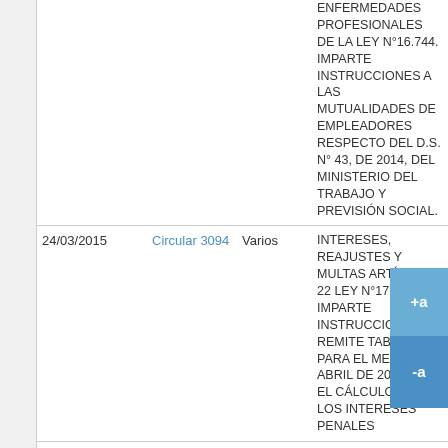| Fecha | Tipo | Destinatario | Descripción |
| --- | --- | --- | --- |
|  |  |  | ENFERMEDADES PROFESIONALES DE LA LEY N°16.744. IMPARTE INSTRUCCIONES A LAS MUTUALIDADES DE EMPLEADORES RESPECTO DEL D.S. N° 43, DE 2014, DEL MINISTERIO DEL TRABAJO Y PREVISIÓN SOCIAL. |
| 24/03/2015 | Circular 3094 | Varios | INTERESES, REAJUSTES Y MULTAS ARTÍCULO 22 LEY N°17.322. IMPARTE INSTRUCCIONES Y REMITE TABLAS PARA EL MES DE ABRIL DE 2015 PARA EL CÁLCULO DE LOS INTERESES PENALES |